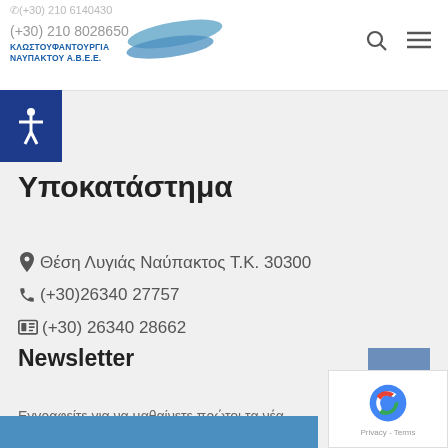(+30) 210 6140430 / (+30) 210 8028650 | ΚΛΩΣΤΟΥΦΑΝΤΟΥΡΓΙΑ ΝΑΥΠΑΚΤΟΥ Α.Β.Ε.Ε.
Υποκατάστημα
Θέση Λυγιάς Ναύπακτος Τ.Κ. 30300
(+30)26340 27757
(+30) 26340 28662
Newsletter
Εγγραφείτε για να μαθαίνετε πρώτοι τα νέα μας